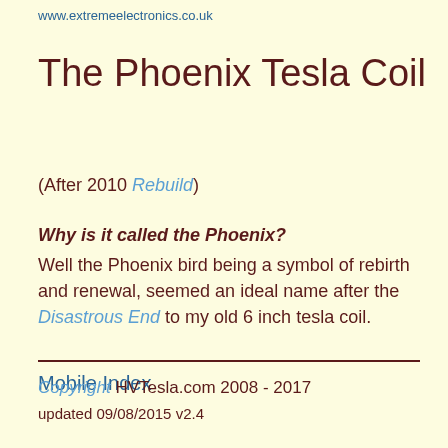www.extremeelectronics.co.uk
The Phoenix Tesla Coil
(After 2010 Rebuild)
Why is it called the Phoenix?
Well the Phoenix bird being a symbol of rebirth and renewal, seemed an ideal name after the Disastrous End to my old 6 inch tesla coil.
Mobile Index
Copyright HVTesla.com 2008 - 2017
updated 09/08/2015 v2.4